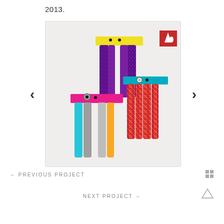2013.
[Figure (photo): Three colorful monster-like stools with fabric-wrapped legs. One yellow-topped stool with purple furry legs, one pink-topped stool with mixed colored legs, and one teal-topped stool with plaid fabric legs. All have playful face decorations. A red logo appears in the upper right corner of the image.]
← PREVIOUS PROJECT
[Figure (other): Grid/menu icon (four squares)]
NEXT PROJECT →